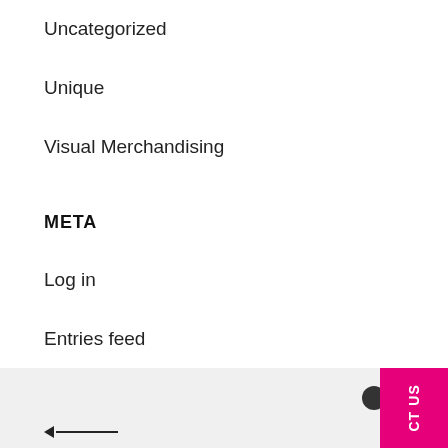Uncategorized
Unique
Visual Merchandising
META
Log in
Entries feed
Comments feed
WordPress.org